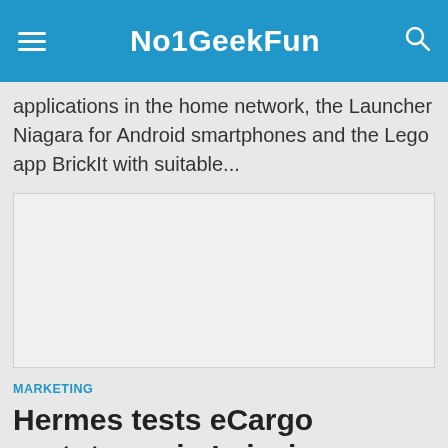No1GeekFun
applications in the home network, the Launcher Niagara for Android smartphones and the Lego app BrickIt with suitable...
[Figure (other): Advertisement or placeholder image block — light gray rectangle]
MARKETING
Hermes tests eCargo prototypes in Leipzig –